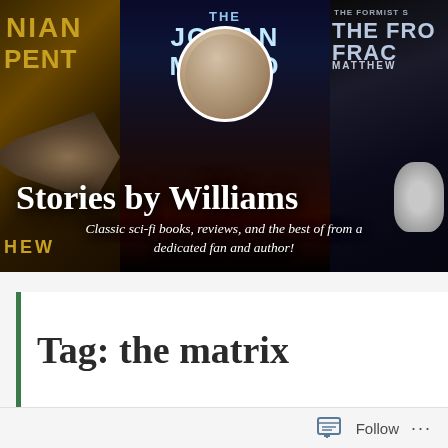[Figure (illustration): Banner image showing sci-fi book covers (The Jovian Manifesto, The Formist Series: The Frozen Fracture by Matthew) with a circular profile photo of the author overlaid. Bold white serif title 'Stories by Williams' and italic subtitle 'Classic sci-fi books, reviews, and the best of from a dedicated fan and author!' overlaid on the banner.]
Stories by Williams
Classic sci-fi books, reviews, and the best of from a dedicated fan and author!
Tag: the matrix
Follow ···